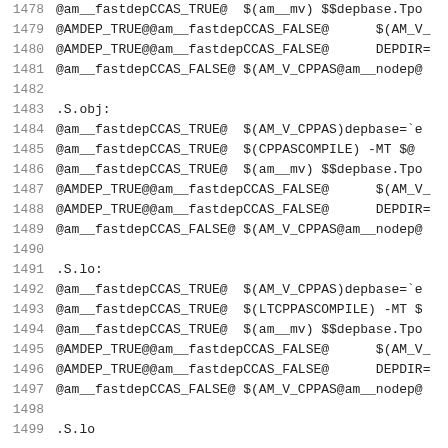Code listing lines 1478-1499, Makefile/automake build rules for .S.obj and .S.lo targets
1478  @am__fastdepCCAS_TRUE@  $(am__mv) $$depbase.Tpo
1479  @AMDEP_TRUE@@am__fastdepCCAS_FALSE@   $(AM_V_
1480  @AMDEP_TRUE@@am__fastdepCCAS_FALSE@   DEPDIR=
1481  @am__fastdepCCAS_FALSE@ $(AM_V_CPPAS@am__nodep@
1482  (empty)
1483  .S.obj:
1484  @am__fastdepCCAS_TRUE@  $(AM_V_CPPAS)depbase=`e
1485  @am__fastdepCCAS_TRUE@  $(CPPASCOMPILE) -MT $@
1486  @am__fastdepCCAS_TRUE@  $(am__mv) $$depbase.Tpo
1487  @AMDEP_TRUE@@am__fastdepCCAS_FALSE@   $(AM_V_
1488  @AMDEP_TRUE@@am__fastdepCCAS_FALSE@   DEPDIR=
1489  @am__fastdepCCAS_FALSE@ $(AM_V_CPPAS@am__nodep@
1490  (empty)
1491  .S.lo:
1492  @am__fastdepCCAS_TRUE@  $(AM_V_CPPAS)depbase=`e
1493  @am__fastdepCCAS_TRUE@  $(LTCPPASCOMPILE) -MT $
1494  @am__fastdepCCAS_TRUE@  $(am__mv) $$depbase.Tpo
1495  @AMDEP_TRUE@@am__fastdepCCAS_FALSE@   $(AM_V_
1496  @AMDEP_TRUE@@am__fastdepCCAS_FALSE@   DEPDIR=
1497  @am__fastdepCCAS_FALSE@ $(AM_V_CPPAS@am__nodep@
1498  (empty)
1499  .S.lo (continued)